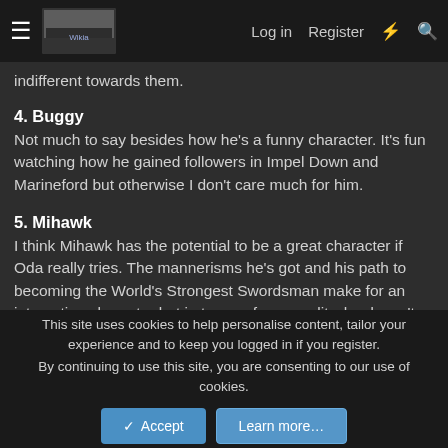≡  [logo]  Log in  Register  ⚡  🔍
indifferent towards them.
4. Buggy
Not much to say besides how he's a funny character. It's fun watching how he gained followers in Impel Down and Marineford but otherwise I don't care much for him.
5. Mihawk
I think Mihawk has the potential to be a great character if Oda really tries. The mannerisms he's got and his path to becoming the World's Strongest Swordsman make for an interesting character but in terms of personality, he doesn't have much going for him that I personally like. I find him kind of boring. I know some people do like his mellow personality and his intricate way of life, but it doesn't appeal that much to me. I do
This site uses cookies to help personalise content, tailor your experience and to keep you logged in if you register.
By continuing to use this site, you are consenting to our use of cookies.